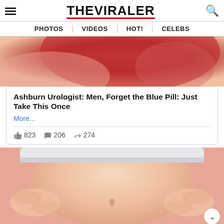THE VIRALER — PHOTOS | VIDEOS | HOT! | CELEBS
[Figure (photo): Close-up photo showing reddish skin texture, likely a finger or body part close-up, used as article thumbnail.]
Ashburn Urologist: Men, Forget the Blue Pill: Just Take This Once
More...
823  206  274
[Figure (illustration): Cartoon/illustration of a person's midsection showing a belly with hands on sides, wearing white underwear, pink/red background.]